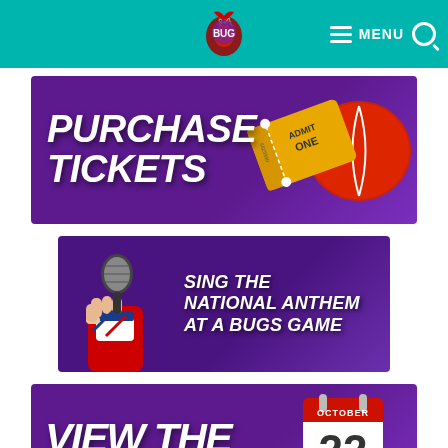Menu
[Figure (infographic): Purchase Tickets banner with large bold italic white text on purple background, showing an admit-one ticket and a red cricket ball]
[Figure (infographic): Sing the National Anthem at a Bugs Game banner on purple background with a hand holding a microphone graphic]
[Figure (infographic): View the Schedule banner on purple background with an October 22 calendar icon]